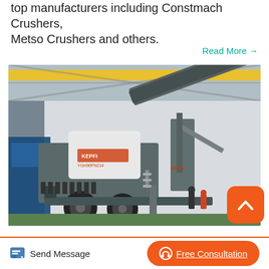top manufacturers including Constmach Crushers, Metso Crushers and others.
Read More →
[Figure (photo): Industrial mobile crusher machine (Alpha Crusher Ironwolf) inside a factory/warehouse, mounted on a trailer, with conveyor belts extended, brand markings visible, and workers in background]
Alpha Crusher Ironwolf
Used mobile asphalt crusher recovery of asphalt
Send Message
Free Consultation